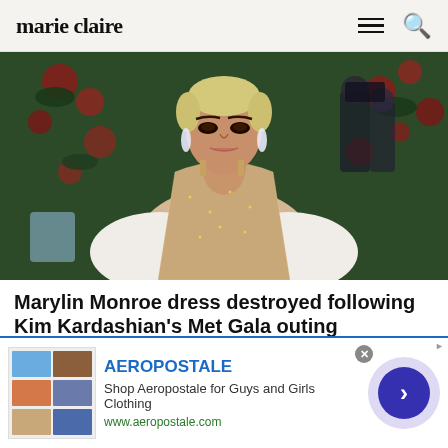marie claire
[Figure (photo): Kim Kardashian at the Met Gala wearing a bedazzled beige/nude gown with short platinum blonde hair, photographed on the red carpet with photographers in the background]
Marylin Monroe dress destroyed following Kim Kardashian's Met Gala outing
Did you think that the drama caused by Kim K wearing Marilyn Monroe's dress to the Met Gala was over? Not
[Figure (other): Aeropostale advertisement banner showing clothing items, brand name, description 'Shop Aeropostale for Guys and Girls Clothing', URL www.aeropostale.com, and a blue circular arrow button]